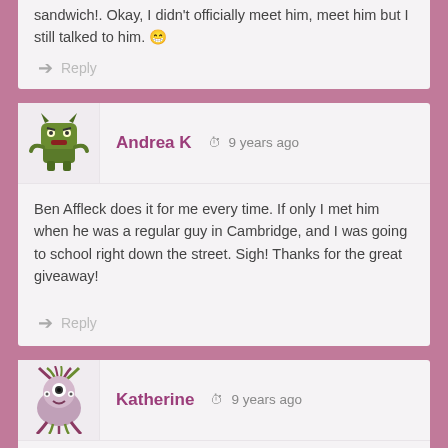sandwich!. Okay, I didn't officially meet him, meet him but I still talked to him. 😁
Reply
Andrea K  ·  9 years ago
Ben Affleck does it for me every time. If only I met him when he was a regular guy in Cambridge, and I was going to school right down the street. Sigh! Thanks for the great giveaway!
Reply
Katherine  ·  9 years ago
Ooohhhh!!! This is on my TBR list.. Please please please